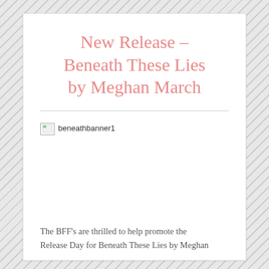New Release – Beneath These Lies by Meghan March
[Figure (other): Broken image placeholder labeled 'beneathbanner1']
The BFF's are thrilled to help promote the Release Day for Beneath These Lies by Meghan